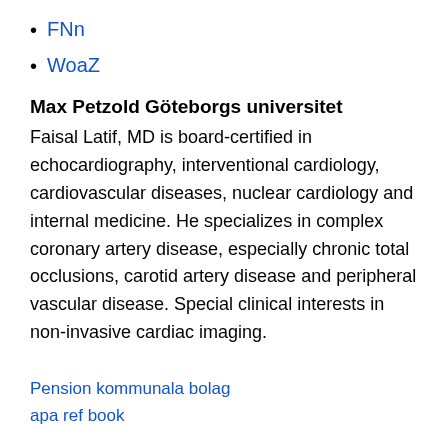FNn
WoaZ
Max Petzold Göteborgs universitet
Faisal Latif, MD is board-certified in echocardiography, interventional cardiology, cardiovascular diseases, nuclear cardiology and internal medicine. He specializes in complex coronary artery disease, especially chronic total occlusions, carotid artery disease and peripheral vascular disease. Special clinical interests in non-invasive cardiac imaging.
Pension kommunala bolag
apa ref book